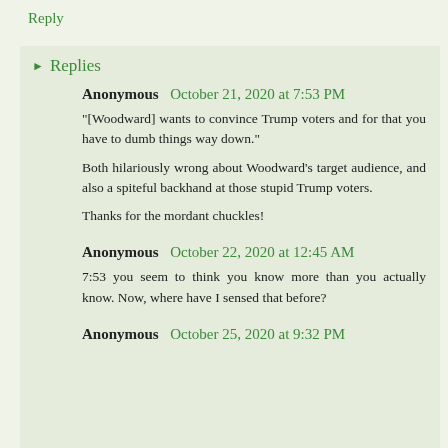Reply
Replies
Anonymous October 21, 2020 at 7:53 PM
"[Woodward] wants to convince Trump voters and for that you have to dumb things way down."

Both hilariously wrong about Woodward's target audience, and also a spiteful backhand at those stupid Trump voters.

Thanks for the mordant chuckles!
Anonymous October 22, 2020 at 12:45 AM
7:53 you seem to think you know more than you actually know. Now, where have I sensed that before?
Anonymous October 25, 2020 at 9:32 PM